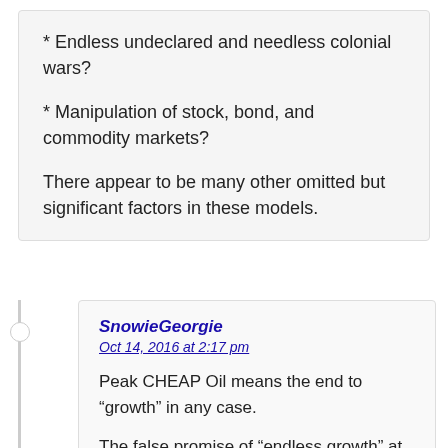* Endless undeclared and needless colonial wars?
* Manipulation of stock, bond, and commodity markets?
There appear to be many other omitted but significant factors in these models.
SnowieGeorgie
Oct 14, 2016 at 2:17 pm
Peak CHEAP Oil means the end to “growth” in any case.
The false promise of “endless growth” at some nice rate ( say 4.5% ? ) is the basis for imagining a prosperous industrial powerhouse